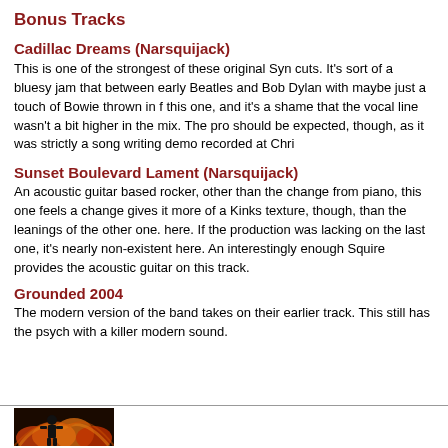Bonus Tracks
Cadillac Dreams (Narsquijack)
This is one of the strongest of these original Syn cuts. It's sort of a bluesy jam that between early Beatles and Bob Dylan with maybe just a touch of Bowie thrown in f this one, and it's a shame that the vocal line wasn't a bit higher in the mix. The pro should be expected, though, as it was strictly a song writing demo recorded at Chri
Sunset Boulevard Lament (Narsquijack)
An acoustic guitar based rocker, other than the change from piano, this one feels a change gives it more of a Kinks texture, though, than the leanings of the other one. here. If the production was lacking on the last one, it's nearly non-existent here. An interestingly enough Squire provides the acoustic guitar on this track.
Grounded 2004
The modern version of the band takes on their earlier track. This still has the psych with a killer modern sound.
[Figure (photo): Small image at bottom left showing a silhouetted figure with red/orange flame-like background]